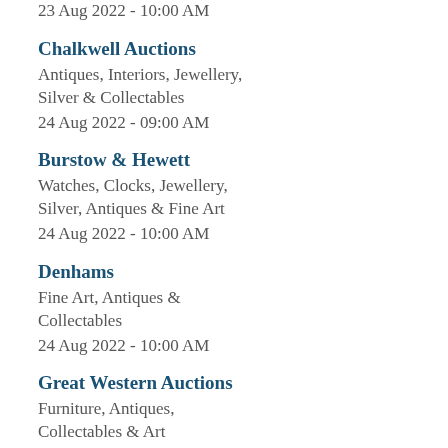23 Aug 2022 - 10:00 AM
Chalkwell Auctions
Antiques, Interiors, Jewellery, Silver & Collectables
24 Aug 2022 - 09:00 AM
Burstow & Hewett
Watches, Clocks, Jewellery, Silver, Antiques & Fine Art
24 Aug 2022 - 10:00 AM
Denhams
Fine Art, Antiques & Collectables
24 Aug 2022 - 10:00 AM
Great Western Auctions
Furniture, Antiques, Collectables & Art
24 Aug 2022 - 10:00 AM